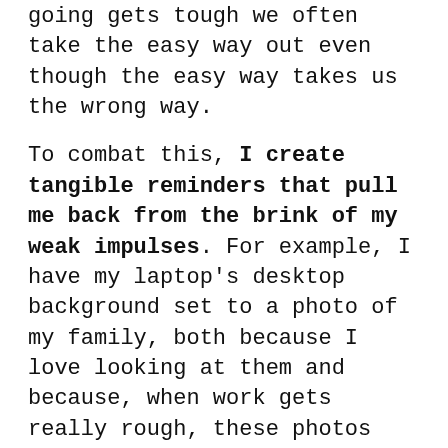going gets tough we often take the easy way out even though the easy way takes us the wrong way.
To combat this, I create tangible reminders that pull me back from the brink of my weak impulses. For example, I have my laptop's desktop background set to a photo of my family, both because I love looking at them and because, when work gets really rough, these photos remind me of the people I am ultimately working for.
And I'm not the only one who's successfully using this strategy…
A friend of mine who has paid off almost